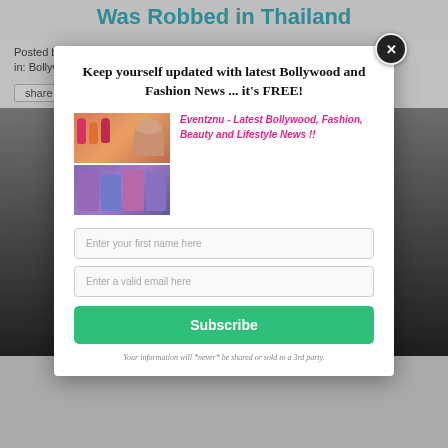Was Robbed in Thailand
Posted by Vaishali | Date: March 02, 2017 | in: Bollywood, Entertainment | Leave a comment
share
[Figure (screenshot): Background image showing a person, partially obscured by modal popup]
[Figure (infographic): Modal popup: Keep yourself updated with latest Bollywood and Fashion News ... it's FREE! with promo images, email signup form, and Subscribe button]
Keep yourself updated with latest Bollywood and Fashion News ... it's FREE!
Eventznu - Latest Bollywood, Fashion, Beauty and Lifestyle News !!
Enter your first name here
Enter a valid email here
Subscribe
Your information will *never* be shared or sold to a 3rd party.